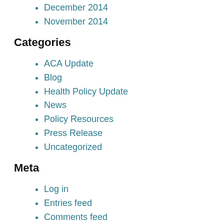December 2014
November 2014
Categories
ACA Update
Blog
Health Policy Update
News
Policy Resources
Press Release
Uncategorized
Meta
Log in
Entries feed
Comments feed
WordPress.org